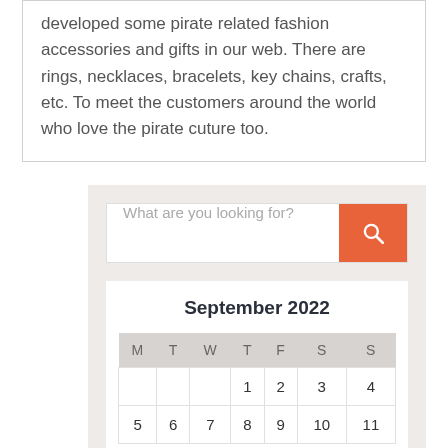developed some pirate related fashion accessories and gifts in our web. There are rings, necklaces, bracelets, key chains, crafts, etc. To meet the customers around the world who love the pirate cuture too.
[Figure (other): Search bar with placeholder text 'What are you looking for?' and an orange search button with a magnifying glass icon]
| M | T | W | T | F | S | S |
| --- | --- | --- | --- | --- | --- | --- |
|  |  |  | 1 | 2 | 3 | 4 |
| 5 | 6 | 7 | 8 | 9 | 10 | 11 |